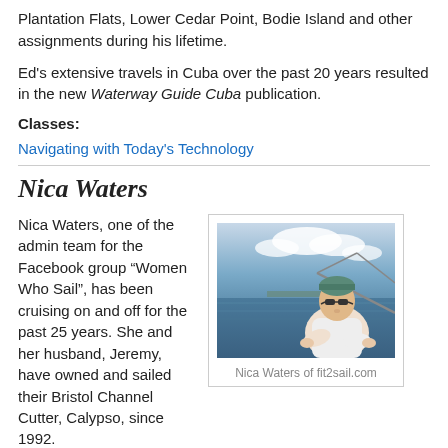Plantation Flats, Lower Cedar Point, Bodie Island and other assignments during his lifetime.
Ed's extensive travels in Cuba over the past 20 years resulted in the new Waterway Guide Cuba publication.
Classes:
Navigating with Today's Technology
Nica Waters
[Figure (photo): Photo of Nica Waters seated on a sailboat, wearing sunglasses and a teal headband, with water and clouds in the background.]
Nica Waters of fit2sail.com
Nica Waters, one of the admin team for the Facebook group “Women Who Sail”, has been cruising on and off for the past 25 years. She and her husband, Jeremy, have owned and sailed their Bristol Channel Cutter, Calypso, since 1992. They have done 2 successful cruises (one before kids and one with) and are in the countdown phase for the next one. A devotion to sleep and certified yoga teacher...